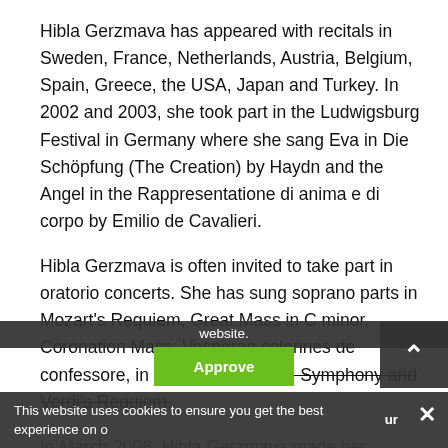Hibla Gerzmava has appeared with recitals in Sweden, France, Netherlands, Austria, Belgium, Spain, Greece, the USA, Japan and Turkey. In 2002 and 2003, she took part in the Ludwigsburg Festival in Germany where she sang Eva in Die Schöpfung (The Creation) by Haydn and the Angel in the Rappresentatione di anima e di corpo by Emilio de Cavalieri.
Hibla Gerzmava is often invited to take part in oratorio concerts. She has sung soprano parts in Mozart's Requiem, Great Mass in C minor, Coronation Mass, Vesperae solennes de confessore, in Beethoven's Ninth Symphony and Verdi's Requiem.
In March 2008, Hibla Gerzmava made her Covent Garden debut as Tatiana in Tchaikovsky's Eugene Onegin and appeared there again as Mimi in Puccini's La bohème, coming back to the Opera House in January 2012 as Donna Anna in Mozart's Don Giovanni.
This website uses cookies to ensure you get the best experience on our website.